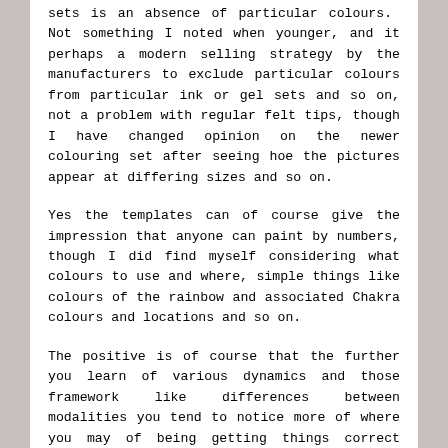sets is an absence of particular colours.  Not something I noted when younger, and it perhaps a modern selling strategy by the manufacturers to exclude particular colours from particular ink or gel sets and so on, not a problem with regular felt tips, though I have changed opinion on the newer colouring set after seeing hoe the pictures appear at differing sizes and so on.
Yes the templates can of course give the impression that anyone can paint by numbers, though I did find myself considering what colours to use and where, simple things like colours of the rainbow and associated Chakra colours and locations and so on.
The positive is of course that the further you learn of various dynamics and those framework like differences between modalities you tend to notice more of where you may of being getting things correct previously or indeed changed the reasoning behind strategies and so on. I think that